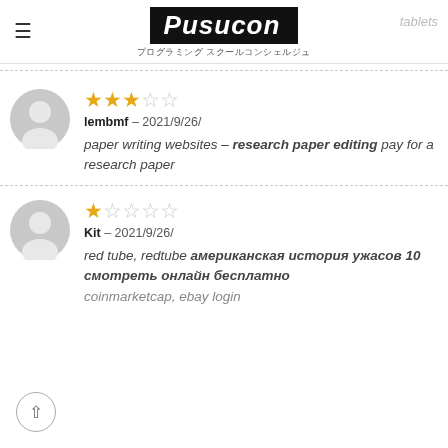Pusucon — プログラミング スクールコンシェルジュ
lembmf – 2021年9月26日
paper writing websites – research paper editing pay for a research paper
Kit – 2021年9月26日
red tube, redtube американская история ужасов 10 смотреть онлайн бесплатно
coinmarketcap, ebay login